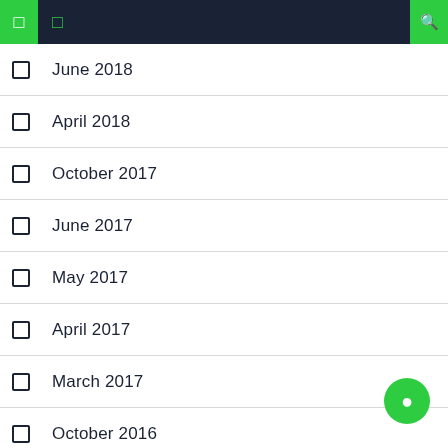Navigation bar with icons
June 2018
April 2018
October 2017
June 2017
May 2017
April 2017
March 2017
October 2016
September 2016
August 2016